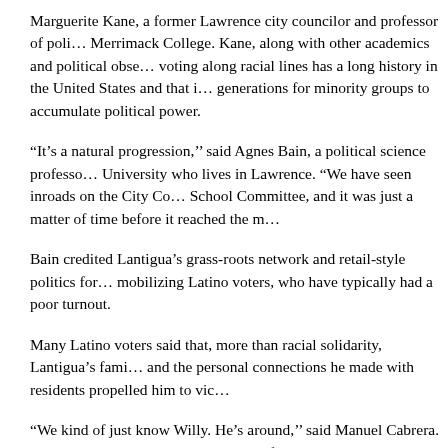Marguerite Kane, a former Lawrence city councilor and professor of political science at Merrimack College. Kane, along with other academics and political observers, noted that voting along racial lines has a long history in the United States and that it takes generations for minority groups to accumulate political power.
“It’s a natural progression,’’ said Agnes Bain, a political science professor at Tufts University who lives in Lawrence. “We have seen inroads on the City Council, on the School Committee, and it was just a matter of time before it reached the mayor’s office.”
Bain credited Lantigua’s grass-roots network and retail-style politics for mobilizing Latino voters, who have typically had a poor turnout.
Many Latino voters said that, more than racial solidarity, Lantigua’s familiarity and the personal connections he made with residents propelled him to victory.
“We kind of just know Willy. He’s around,’’ said Manuel Cabrera. “You can say ‘I know the mayor,’ and a lot of people actually do know the mayor and they feel proud, which helps. It’s Willy, you know? That’s how people feel.’’
While Lantigua’s refusal to participate in debates or answer media questions about his past alienated some voters, many dismissed the criticism. “Lantigua is a guy who has been around Lawrence for a very long time, and people know who he is,’’ said Almanzar, who came to Lawrence from the Dominican Republic. “He w...